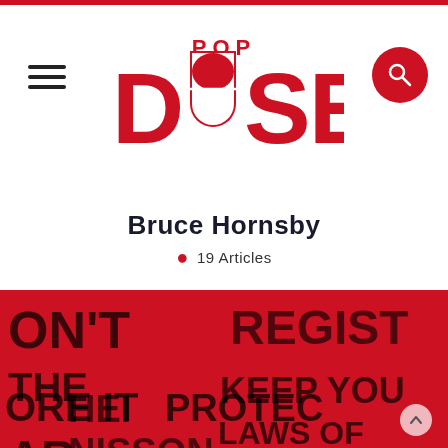Popdose
Bruce Hornsby
• 19 Articles
[Figure (photo): Red-tinted protest rally photo showing people holding signs with partial text including 'ON'T', 'THE', 'AR', 'ORE IT', 'REGIST', 'KEEP YOU', 'LAWS OF', 'HEI NISSON', 'PROTECT'. Overlaid with a comment/time badge showing '5 Comments' and '56'.]
5 Comments  56